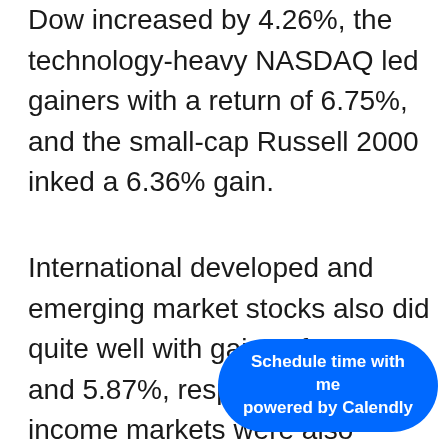Dow increased by 4.26%, the technology-heavy NASDAQ led gainers with a return of 6.75%, and the small-cap Russell 2000 inked a 6.36% gain.
International developed and emerging market stocks also did quite well with gains of 5.43% and 5.87%, respectively.  Fixed income markets were also generally higher, but returns were widely different across the debt sp...